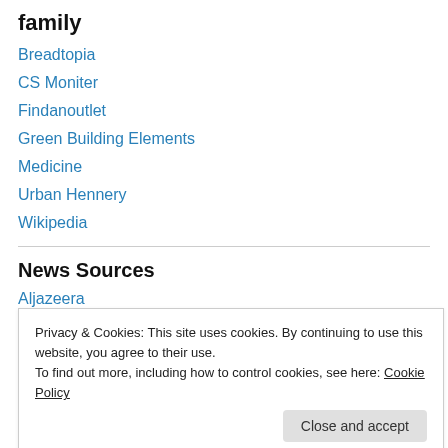family
Breadtopia
CS Moniter
Findanoutlet
Green Building Elements
Medicine
Urban Hennery
Wikipedia
News Sources
Aljazeera
Privacy & Cookies: This site uses cookies. By continuing to use this website, you agree to their use.
To find out more, including how to control cookies, see here: Cookie Policy
Close and accept